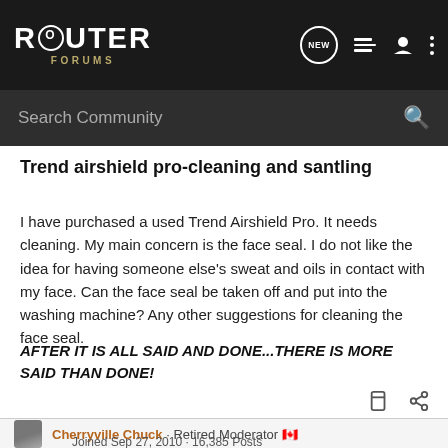ROUTER FORUMS
Trend airshield pro-cleaning and santling
I have purchased a used Trend Airshield Pro. It needs cleaning. My main concern is the face seal. I do not like the idea for having someone else's sweat and oils in contact with my face. Can the face seal be taken off and put into the washing machine? Any other suggestions for cleaning the face seal.
AFTER IT IS ALL SAID AND DONE...THERE IS MORE SAID THAN DONE!
Cherryville Chuck · Retired Moderator
Joined Sep 27, 2010 · 16,385 Posts